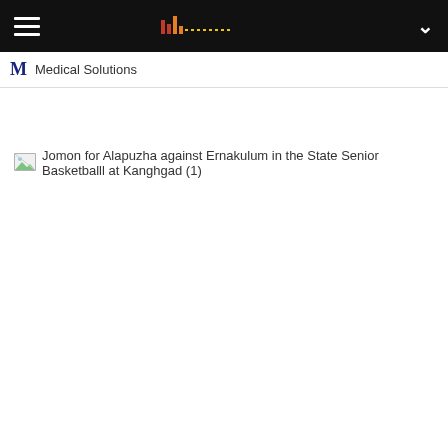Medical Solutions
[Figure (screenshot): Broken image placeholder with alt text: Jomon for Alapuzha against Ernakulum in the State Senior Basketballl at Kanghgad (1)]